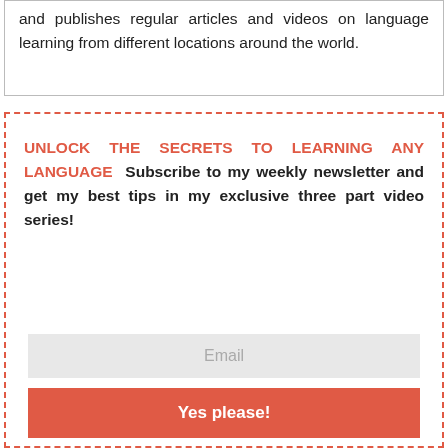and publishes regular articles and videos on language learning from different locations around the world.
UNLOCK THE SECRETS TO LEARNING ANY LANGUAGE Subscribe to my weekly newsletter and get my best tips in my exclusive three part video series!
[Figure (other): Email input field with placeholder text 'Email']
[Figure (other): Red submit button with text 'Yes please!']